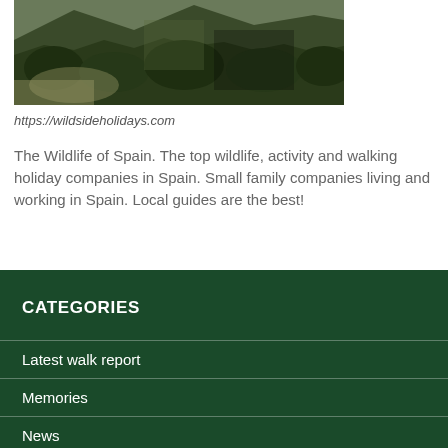[Figure (photo): Landscape photo showing forested mountain hillside with dense green trees and shrubs, partially cropped at the top of the page]
https://wildsideholidays.com
The Wildlife of Spain. The top wildlife, activity and walking holiday companies in Spain. Small family companies living and working in Spain. Local guides are the best!
CATEGORIES
Latest walk report
Memories
News